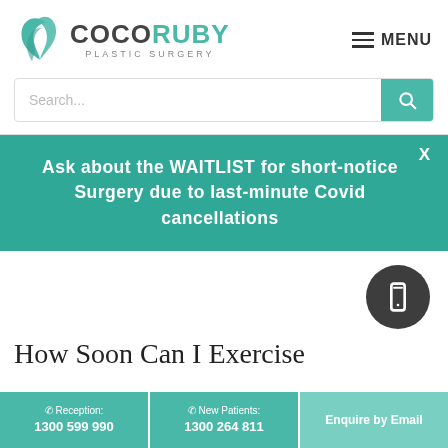[Figure (logo): CocoRuby Plastic Surgery logo with teal leaf/wing graphic and text]
MENU (hamburger navigation)
Search...
Ask about the WAITLIST for short-notice Surgery due to last-minute Covid cancellations
How Soon Can I Exercise
Reception: 1300 599 990 | New Patients: 1300 264 811 | Enquire by Email